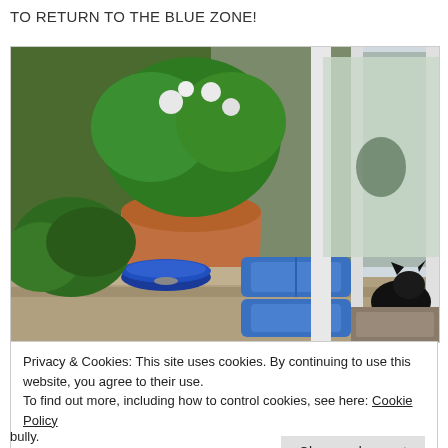TO RETURN TO THE BLUE ZONE!
[Figure (photo): Outdoor patio area with large terracotta pot containing green and white flowering plants, a blue ceramic bowl on a stone ledge, two blue cushions on the porch, a black cat near a sliding glass door, and greenery in the background.]
Privacy & Cookies: This site uses cookies. By continuing to use this website, you agree to their use.
To find out more, including how to control cookies, see here: Cookie Policy
Close and accept
bully.